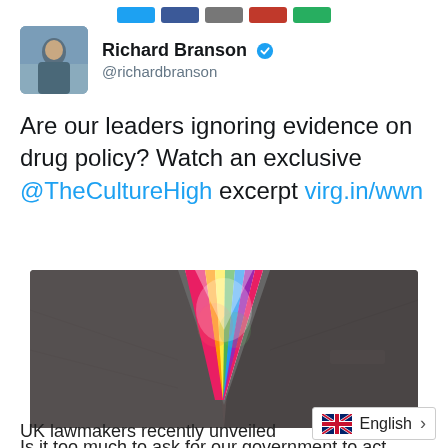[Figure (screenshot): Social media share buttons row at top including Twitter, Facebook, Google+, and other platform buttons]
[Figure (screenshot): Twitter profile header showing Richard Branson with verified badge, handle @richardbranson, and avatar photo of man in outdoor setting]
Are our leaders ignoring evidence on drug policy? Watch an exclusive @TheCultureHigh excerpt virg.in/wwn
[Figure (photo): Photo of a dark grey suit jacket open showing a colorful tie-dye shirt underneath with rainbow swirl pattern]
Is it too much to ask for our government to act based on evidence?
UK lawmakers recently unveiled
[Figure (screenshot): Language selector widget showing UK flag and English label with right arrow]